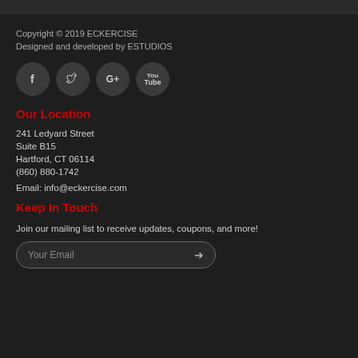Copyright © 2019 ECKERCISE
Designed and developed by ESTUDIOS
[Figure (other): Four social media icon buttons (Facebook, Twitter, Google+, YouTube) displayed as dark circular icons]
Our Location
241 Ledyard Street
Suite B15
Hartford, CT 06114
(860) 880-1742
Email: info@eckercise.com
Keep In Touch
Join our mailing list to receive updates, coupons, and more!
Your Email